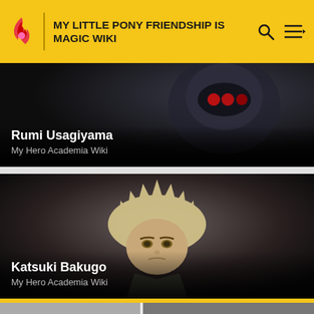MY LITTLE PONY FRIENDSHIP IS MAGIC WIKI
[Figure (screenshot): Dark anime character with helmet and mechanical suit - Rumi Usagiyama card]
Rumi Usagiyama
My Hero Academia Wiki
[Figure (screenshot): Anime character with spiky blonde hair, serious expression - Katsuki Bakugo card]
Katsuki Bakugo
My Hero Academia Wiki
[Figure (screenshot): Partial third card visible at bottom of page]